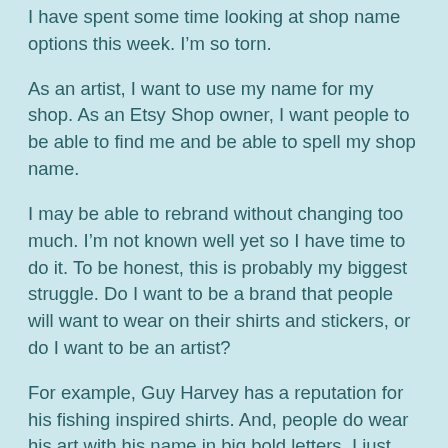I have spent some time looking at shop name options this week. I’m so torn.
As an artist, I want to use my name for my shop. As an Etsy Shop owner, I want people to be able to find me and be able to spell my shop name.
I may be able to rebrand without changing too much. I’m not known well yet so I have time to do it. To be honest, this is probably my biggest struggle. Do I want to be a brand that people will want to wear on their shirts and stickers, or do I want to be an artist?
For example, Guy Harvey has a reputation for his fishing inspired shirts. And, people do wear his art with his name in big bold letters. I just don’t see people wearing Jennifer Lindquist across the front of their clothing.